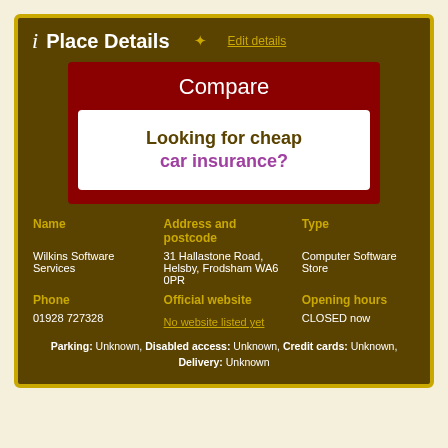Place Details
Edit details
[Figure (infographic): Advertisement box: 'Compare' header in white on dark red background, with inner white box containing 'Looking for cheap car insurance?' in dark gold and purple text.]
| Name | Address and postcode | Type |
| --- | --- | --- |
| Wilkins Software Services | 31 Hallastone Road, Helsby, Frodsham WA6 0PR | Computer Software Store |
| Phone | Official website | Opening hours |
| --- | --- | --- |
| 01928 727328 | No website listed yet | CLOSED now |
Parking: Unknown, Disabled access: Unknown, Credit cards: Unknown, Delivery: Unknown